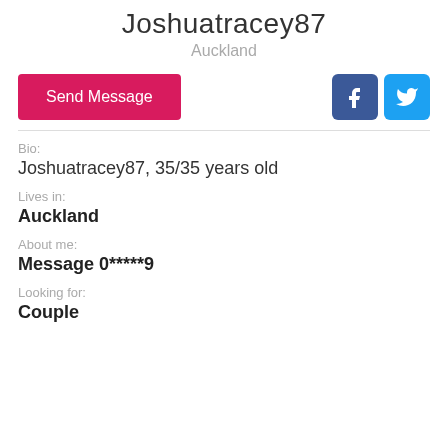Joshuatracey87
Auckland
Send Message
Bio:
Joshuatracey87, 35/35 years old
Lives in:
Auckland
About me:
Message 0*****9
Looking for:
Couple